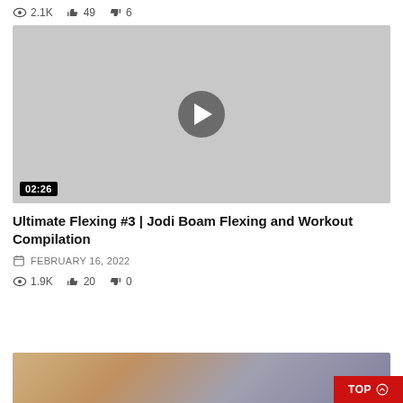2.1K views  49 likes  6 dislikes
[Figure (screenshot): Video thumbnail placeholder with play button and 02:26 duration badge]
Ultimate Flexing #3 | Jodi Boam Flexing and Workout Compilation
FEBRUARY 16, 2022
1.9K views  20 likes  0 dislikes
[Figure (photo): Partial thumbnail of next video, blurred fitness content]
TOP